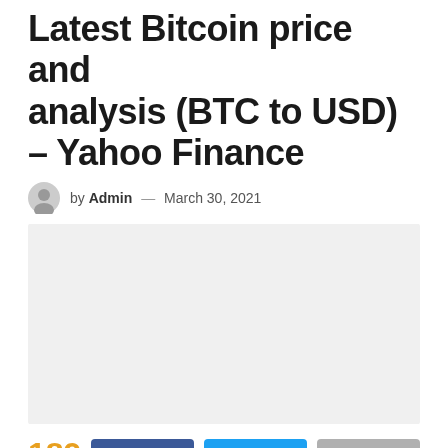Latest Bitcoin price and analysis (BTC to USD) – Yahoo Finance
by Admin — March 30, 2021
[Figure (other): Advertisement placeholder block, light gray background]
189 SHARES
Bitcoin is on the brink of a major breakout above $60,000 on the back of Visa and PayPal's decision to